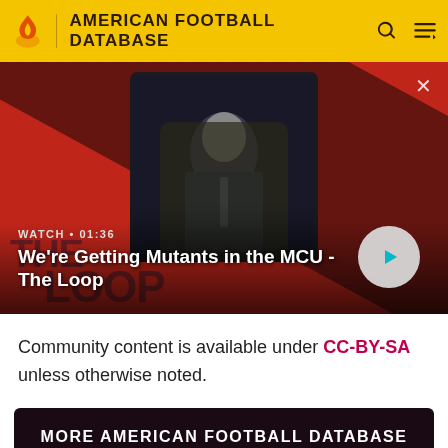AMERICAN FOOTBALL DATABASE
[Figure (screenshot): Video thumbnail showing a bald man in a suit seated in a chair, with a red diagonal striped background and 'THE LOOP' text overlay. Title reads: We're Getting Mutants in the MCU - The Loop. Watch time: 01:36.]
Community content is available under CC-BY-SA unless otherwise noted.
MORE AMERICAN FOOTBALL DATABASE